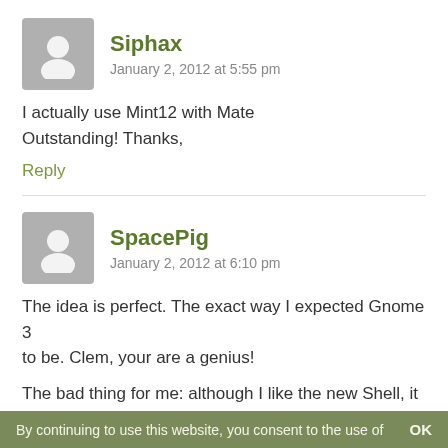[Figure (illustration): Gray avatar placeholder icon for user Siphax]
Siphax
January 2, 2012 at 5:55 pm
I actually use Mint12 with Mate Outstanding! Thanks,
Reply
[Figure (illustration): Gray avatar placeholder icon for user SpacePig]
SpacePig
January 2, 2012 at 6:10 pm
The idea is perfect. The exact way I expected Gnome 3 to be. Clem, your are a genius!
The bad thing for me: although I like the new Shell, it seems the Nvidia Geforce 7300 GS cards aren't
By continuing to use this website, you consent to the use of   OK